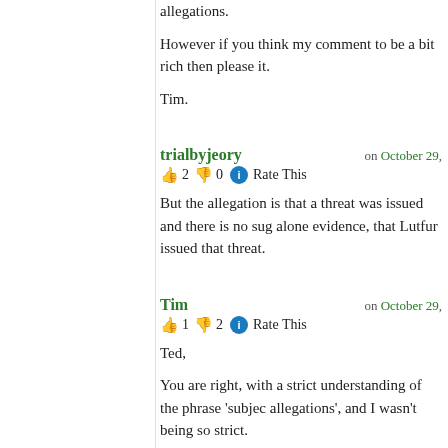allegations.

However if you think my comment to be a bit rich then please it.

Tim.
trialbyjeory | on October 29,
👍 2 👎 0 ℹ Rate This

But the allegation is that a threat was issued and there is no sug alone evidence, that Lutfur issued that threat.
Tim | on October 29,
👍 1 👎 2 ℹ Rate This

Ted,

You are right, with a strict understanding of the phrase 'subjec allegations', and I wasn't being so strict.

However the wording of the alleged threat strongly suggests th implicated in the allegation.

As I said, if my original comment was a bit too rich then please it. However I stand by the spirit of it, particularly as it oft